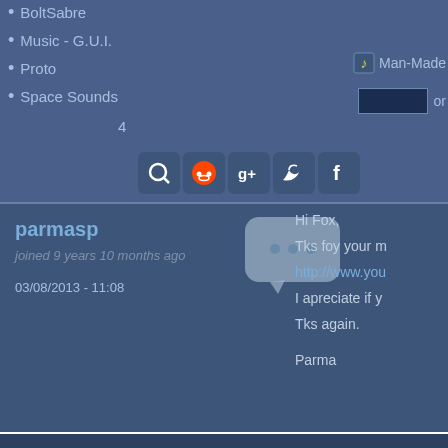BoltSabre
Music - G.U.I.
Proto
Space Sounds
4
[Figure (other): Social sharing icons: Q (search), Reddit, Google+, Twitter, Facebook]
[Figure (other): Music file icon with label Man-Made]
[Figure (other): Input box with 'or' text]
parmasp
joined 9 years 10 months ago
03/08/2013 - 11:08
[Figure (other): Speech bubble with three dots (comment icon)]
Hi Fox,
Tks foy your m
http://www.you
I apreciate if y
Tks again.
Parma